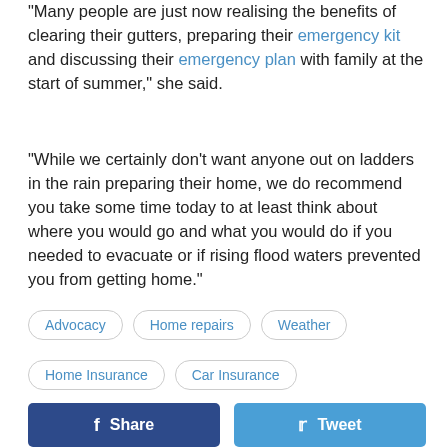“Many people are just now realising the benefits of clearing their gutters, preparing their emergency kit and discussing their emergency plan with family at the start of summer,” she said.
“While we certainly don’t want anyone out on ladders in the rain preparing their home, we do recommend you take some time today to at least think about where you would go and what you would do if you needed to evacuate or if rising flood waters prevented you from getting home.”
Advocacy
Home repairs
Weather
Home Insurance
Car Insurance